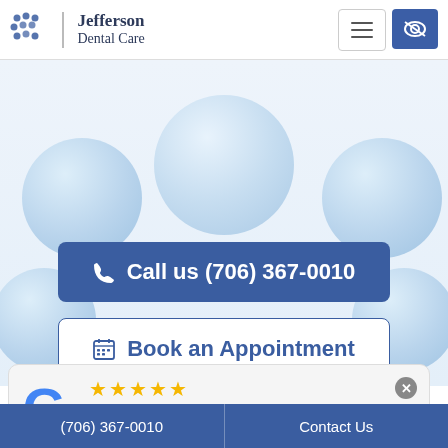Jefferson Dental Care
[Figure (screenshot): Website hero section with light blue bubble/sphere decorations on a light blue-grey gradient background]
Call us (706) 367-0010
Book an Appointment
★★★★★ The moment you enter their office you feel welcomed. Everyon... More
(706) 367-0010    Contact Us